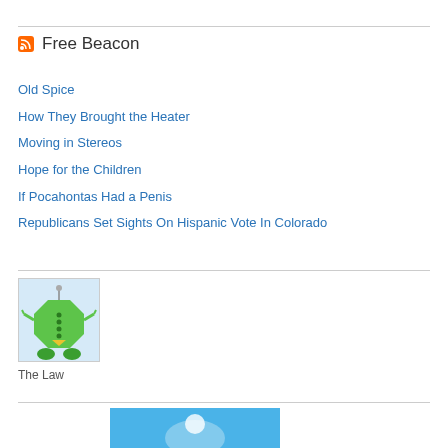Free Beacon
Old Spice
How They Brought the Heater
Moving in Stereos
Hope for the Children
If Pocahontas Had a Penis
Republicans Set Sights On Hispanic Vote In Colorado
[Figure (illustration): Green cartoon robot/alien creature on light blue background]
The Law
[Figure (illustration): Partial blue image visible at bottom of page]